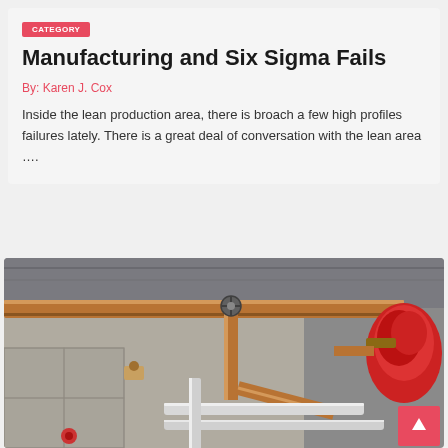Manufacturing and Six Sigma Fails
By: Karen J. Cox
Inside the lean production area, there is broach a few high profiles failures lately. There is a great deal of conversation with the lean area ….
[Figure (photo): Industrial pipes — copper and white PVC pipes with valves and fittings mounted on a concrete wall, including a large red valve assembly on the right side.]